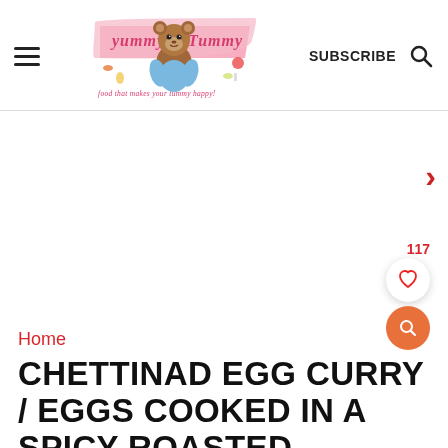Yummy Tummy — food that makes your tummy happy! | SUBSCRIBE
[Figure (logo): Yummy Tummy blog logo with a brown bear character and food items, text 'yummy Tummy' and tagline 'food that makes your tummy happy!']
[Figure (other): Advertisement/banner area with a red right-chevron arrow on the right side]
Home
CHETTINAD EGG CURRY / EGGS COOKED IN A SPICY ROASTED MASALA GRAVY